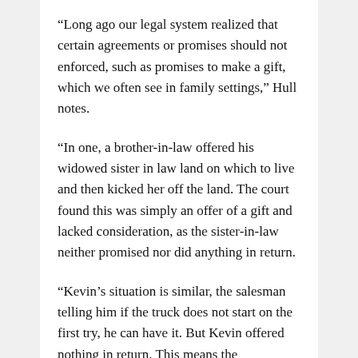“Long ago our legal system realized that certain agreements or promises should not enforced, such as promises to make a gift, which we often see in family settings,” Hull notes.
“In one, a brother-in-law offered his widowed sister in law land on which to live and then kicked her off the land. The court found this was simply an offer of a gift and lacked consideration, as the sister-in-law neither promised nor did anything in return.
“Kevin’s situation is similar, the salesman telling him if the truck does not start on the first try, he can have it. But Kevin offered nothing in return. This means the “agreement” lacked consideration. With no benefit promised, offered or given by Kevin to the salesman, we are left with an offer of a gift and